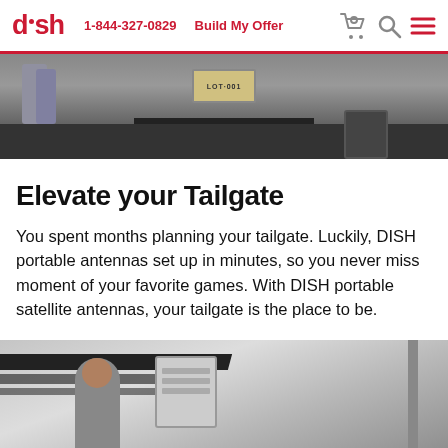dish | 1-844-327-0829 | Build My Offer
[Figure (photo): Partial view of a tailgate scene, showing the rear undercarriage of a truck with people standing nearby.]
Elevate your Tailgate
You spent months planning your tailgate. Luckily, DISH portable antennas set up in minutes, so you never miss moment of your favorite games. With DISH portable satellite antennas, your tailgate is the place to be.
[Figure (photo): A person standing next to a large RV or motorhome with striped graphics on its side.]